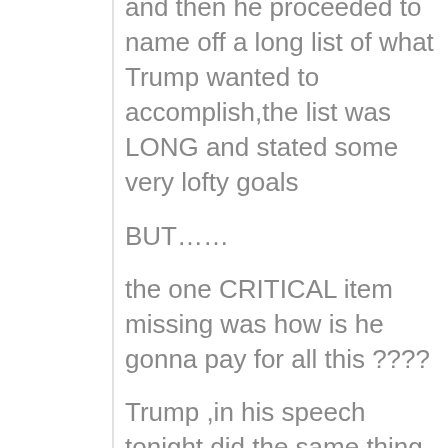and then he proceeded to name off a long list of what Trump wanted to accomplish,the list was LONG and stated some very lofty goals
BUT……
the one CRITICAL item missing was how is he gonna pay for all this ????
Trump ,in his speech tonight did the same thing he fed plenty of red meat to the audience but he never said where the $$$$$$$$$$$$$$$$$$$$$$$$ for all the promises is